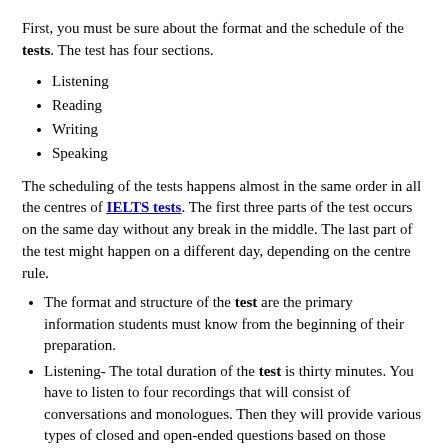First, you must be sure about the format and the schedule of the tests. The test has four sections.
Listening
Reading
Writing
Speaking
The scheduling of the tests happens almost in the same order in all the centres of IELTS tests. The first three parts of the test occurs on the same day without any break in the middle. The last part of the test might happen on a different day, depending on the centre rule.
The format and structure of the test are the primary information students must know from the beginning of their preparation.
Listening- The total duration of the test is thirty minutes. You have to listen to four recordings that will consist of conversations and monologues. Then they will provide various types of closed and open-ended questions based on those recordings. You are allowed to hear the recordings only once.
Speaking – This part of the test has three sections: short questions, long questions, and discussion with the respective